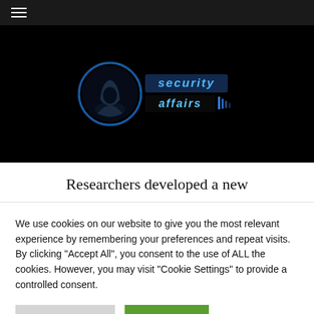☰
[Figure (logo): Security Affairs logo: hooded figure inside a blue circle with 'security affairs' text in blue tech-style font]
Researchers developed a new
We use cookies on our website to give you the most relevant experience by remembering your preferences and repeat visits. By clicking "Accept All", you consent to the use of ALL the cookies. However, you may visit "Cookie Settings" to provide a controlled consent.
Cookie Settings | Accept All